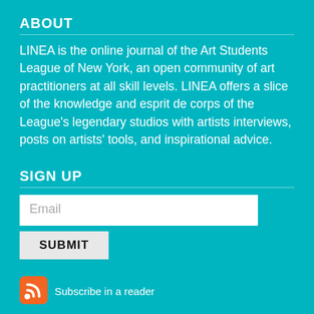ABOUT
LINEA is the online journal of the Art Students League of New York, an open community of art practitioners at all skill levels. LINEA offers a slice of the knowledge and esprit de corps of the League's legendary studios with artists interviews, posts on artists' tools, and inspirational advice.
SIGN UP
Email
SUBMIT
[Figure (logo): Orange RSS feed icon]
Subscribe in a reader
CONTACTS